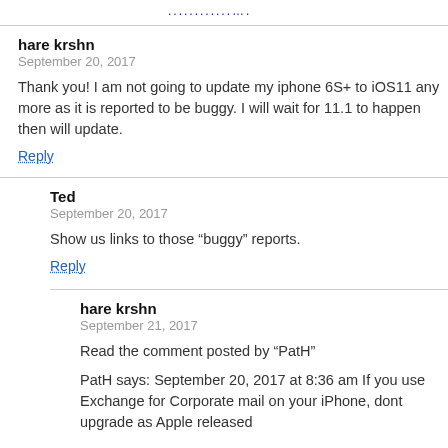............….
hare krshn
September 20, 2017
Thank you! I am not going to update my iphone 6S+ to iOS11 any more as it is reported to be buggy. I will wait for 11.1 to happen then will update.
Reply
Ted
September 20, 2017
Show us links to those “buggy” reports.
Reply
hare krshn
September 21, 2017
Read the comment posted by “PatH”
PatH says: September 20, 2017 at 8:36 am If you use Exchange for Corporate mail on your iPhone, dont upgrade as Apple released